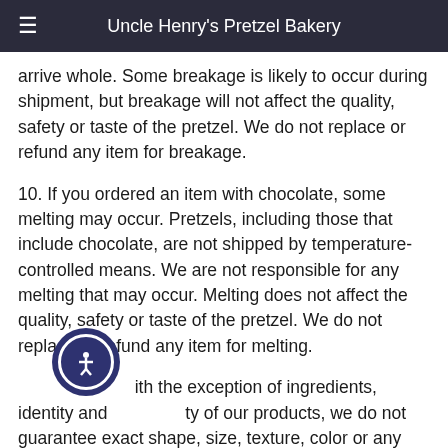Uncle Henry's Pretzel Bakery
arrive whole. Some breakage is likely to occur during shipment, but breakage will not affect the quality, safety or taste of the pretzel. We do not replace or refund any item for breakage.
10. If you ordered an item with chocolate, some melting may occur. Pretzels, including those that include chocolate, are not shipped by temperature-controlled means. We are not responsible for any melting that may occur. Melting does not affect the quality, safety or taste of the pretzel. We do not replace or refund any item for melting.
With the exception of ingredients, identity and quality of our products, we do not guarantee exact shape, size, texture, color or any other